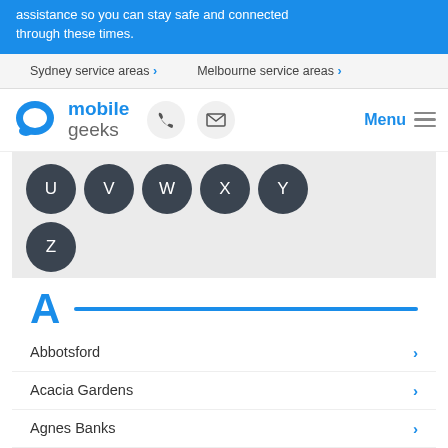assistance so you can stay safe and connected through these times.
Sydney service areas > Melbourne service areas >
[Figure (logo): Mobile Geeks logo with teal speech bubble icon, phone icon button, email icon button, Menu text and hamburger icon]
[Figure (infographic): Circular dark letter buttons: U, V, W, X, Y in a row, then Z below]
A
Abbotsford
Acacia Gardens
Agnes Banks
Airds